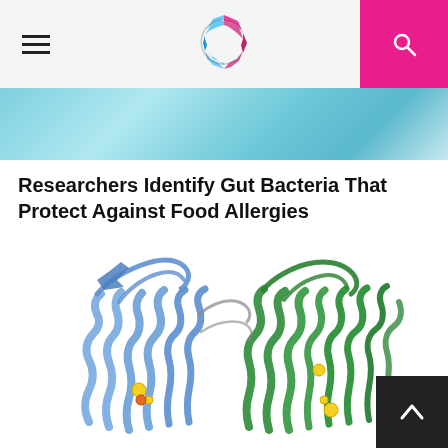Chemist-C logo and navigation bar with hamburger menu and search button
[Figure (photo): Teal/cyan microscopy banner image at top of article]
Researchers Identify Gut Bacteria That Protect Against Food Allergies
[Figure (illustration): 3D molecular protein structure ribbon diagram showing two subunits: one in blue and one in green, with yellow and orange atom spheres at binding sites]